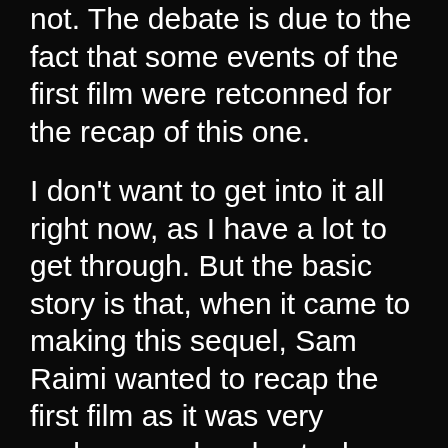not. The debate is due to the fact that some events of the first film were retconned for the recap of this one.
I don't want to get into it all right now, as I have a lot to get through. But the basic story is that, when it came to making this sequel, Sam Raimi wanted to recap the first film as it was very underground and not a huge hit (at the time). However, due to how the first film was financed, with Raimi raising funds from local businesses from his Within the Woods film, multiple people owned the rights to The Evil Dead. Those